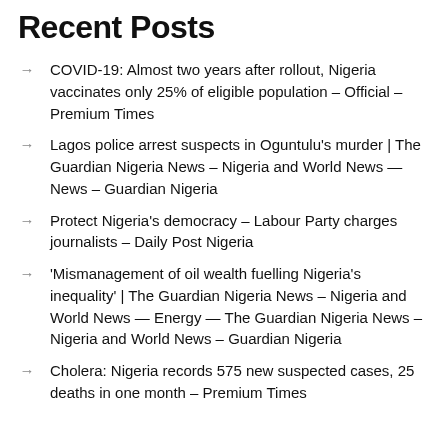Recent Posts
COVID-19: Almost two years after rollout, Nigeria vaccinates only 25% of eligible population – Official – Premium Times
Lagos police arrest suspects in Oguntulu's murder | The Guardian Nigeria News – Nigeria and World News — News – Guardian Nigeria
Protect Nigeria's democracy – Labour Party charges journalists – Daily Post Nigeria
'Mismanagement of oil wealth fuelling Nigeria's inequality' | The Guardian Nigeria News – Nigeria and World News — Energy — The Guardian Nigeria News – Nigeria and World News – Guardian Nigeria
Cholera: Nigeria records 575 new suspected cases, 25 deaths in one month – Premium Times